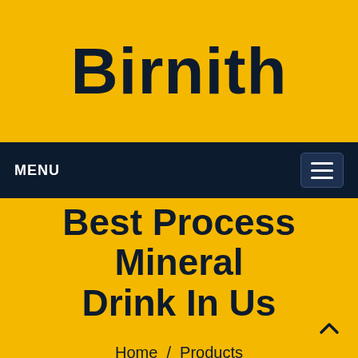Birnith
MENU
Best Process Mineral Drink In Us
Home / Products